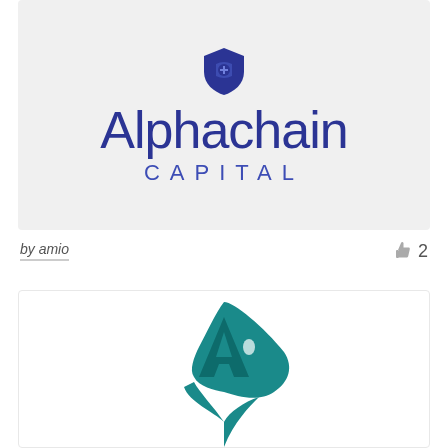[Figure (logo): Alphachain Capital logo: shield/chain icon above large blue text 'Alphachain' and spaced caps 'CAPITAL' on light grey background]
by amio
👍 2
[Figure (logo): Teal shark fin / letter A logo mark on white background, partially visible at bottom of page]